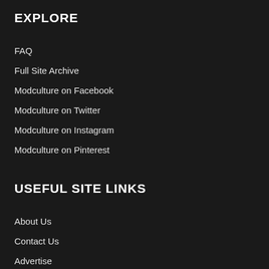EXPLORE
FAQ
Full Site Archive
Modculture on Facebook
Modculture on Twitter
Modculture on Instagram
Modculture on Pinterest
USEFUL SITE LINKS
About Us
Contact Us
Advertise
Privacy and Cookie Policy